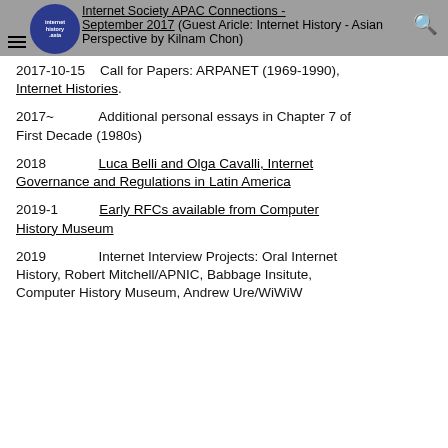Internet Society APAC Connections - September 2017 (Guest Aricle: Internet History - Asian Perspective by Kilnam Chon)
2017-10-15    Call for Papers: ARPANET (1969-1990), Internet Histories.
2017~            Additional personal essays in Chapter 7 of First Decade (1980s)
2018            Luca Belli and Olga Cavalli, Internet Governance and Regulations in Latin America
2019-1          Early RFCs available from Computer History Museum
2019            Internet Interview Projects: Oral Internet History, Robert Mitchell/APNIC, Babbage Insitute, Computer History Museum, Andrew Ure/WiWiW